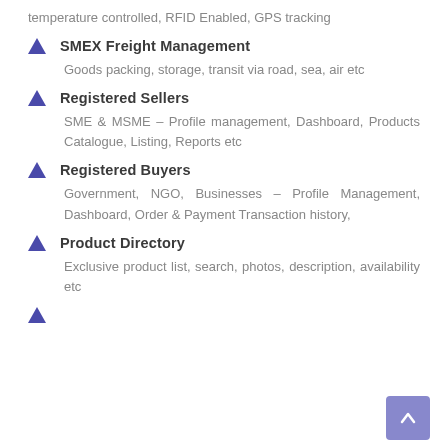temperature controlled, RFID Enabled, GPS tracking
SMEX Freight Management
Goods packing, storage, transit via road, sea, air etc
Registered Sellers
SME & MSME – Profile management, Dashboard, Products Catalogue, Listing, Reports etc
Registered Buyers
Government, NGO, Businesses – Profile Management, Dashboard, Order & Payment Transaction history,
Product Directory
Exclusive product list, search, photos, description, availability etc